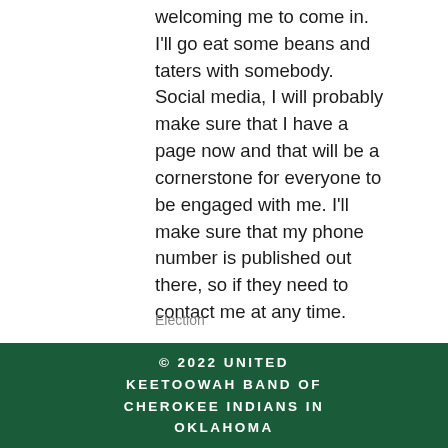welcoming me to come in. I'll go eat some beans and taters with somebody. Social media, I will probably make sure that I have a page now and that will be a cornerstone for everyone to be engaged with me. I'll make sure that my phone number is published out there, so if they need to contact me at any time.
Election
[Figure (other): Facebook share icon and link/chain icon for sharing content]
64 views
© 2022 UNITED KEETOOWAH BAND OF CHEROKEE INDIANS IN OKLAHOMA